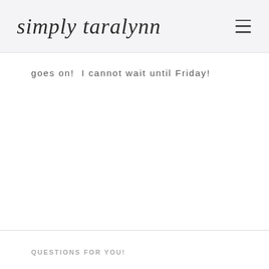simply taralynn
goes on! I cannot wait until Friday!
QUESTIONS FOR YOU!